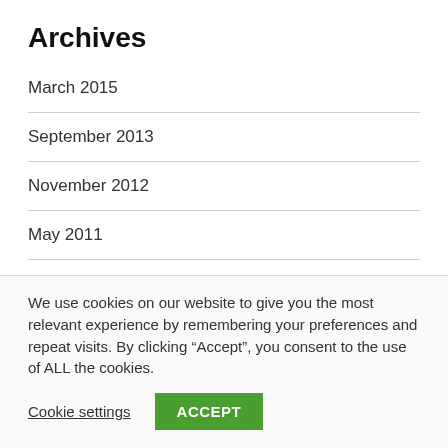Archives
March 2015
September 2013
November 2012
May 2011
November 2010
We use cookies on our website to give you the most relevant experience by remembering your preferences and repeat visits. By clicking “Accept”, you consent to the use of ALL the cookies.
Cookie settings   ACCEPT